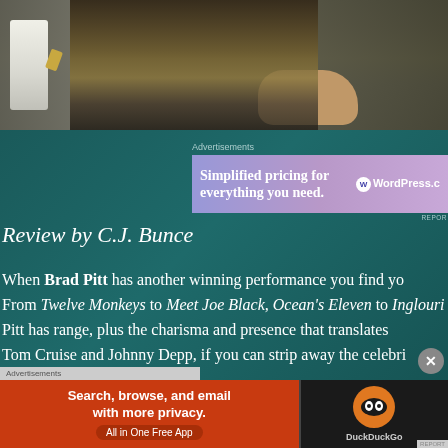[Figure (photo): Military personnel in camouflage uniforms, with a white object (possibly a container) visible on the left side and a hand visible in the lower right area. Dark, moody lighting.]
Advertisements
[Figure (other): WordPress.com advertisement banner: 'Simplified pricing for everything you need.' with WordPress logo on the right side, purple/lavender gradient background.]
REPOR
Review by C.J. Bunce
When Brad Pitt has another winning performance you find yo... From Twelve Monkeys to Meet Joe Black, Ocean's Eleven to Inglouri... Pitt has range, plus the charisma and presence that translates... Tom Cruise and Johnny Depp, if you can strip away the celebri...
Advertisements
[Figure (other): DuckDuckGo advertisement banner: 'Search, browse, and email with more privacy. All in One Free App' on orange background, with DuckDuckGo logo on dark background on the right.]